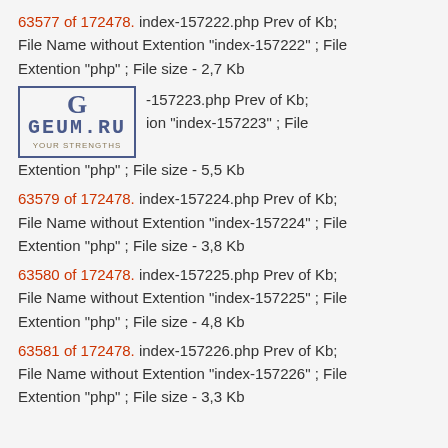63577 of 172478. index-157222.php Prev of Kb; File Name without Extention "index-157222" ; File Extention "php" ; File size - 2,7 Kb
63578 of 172478. index-157223.php Prev of Kb; File Name without Extention "index-157223" ; File Extention "php" ; File size - 5,5 Kb
63579 of 172478. index-157224.php Prev of Kb; File Name without Extention "index-157224" ; File Extention "php" ; File size - 3,8 Kb
63580 of 172478. index-157225.php Prev of Kb; File Name without Extention "index-157225" ; File Extention "php" ; File size - 4,8 Kb
63581 of 172478. index-157226.php Prev of Kb; File Name without Extention "index-157226" ; File Extention "php" ; File size - 3,3 Kb